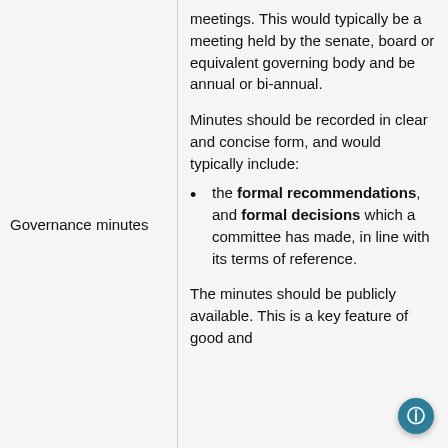meetings. This would typically be a meeting held by the senate, board or equivalent governing body and be annual or bi-annual.
Minutes should be recorded in clear and concise form, and would typically include:
Governance minutes
the formal recommendations, and formal decisions which a committee has made, in line with its terms of reference.
The minutes should be publicly available. This is a key feature of good and